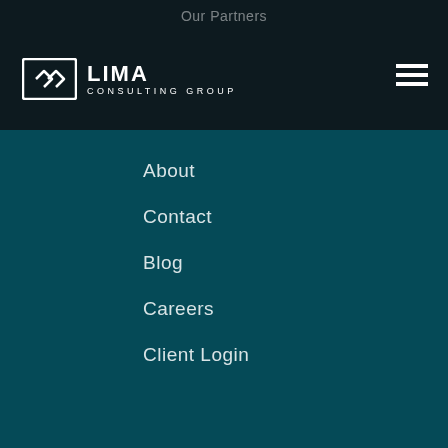Our Partners
[Figure (logo): Lima Consulting Group logo with arrow icon and text]
About
Contact
Blog
Careers
Client Login